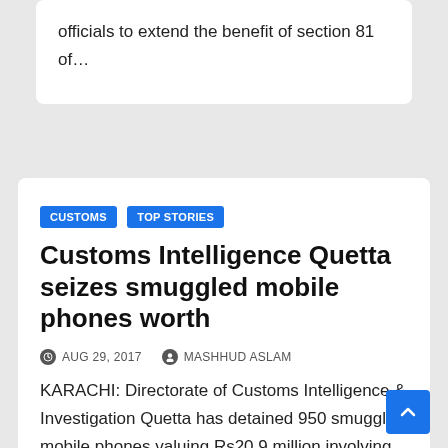officials to extend the benefit of section 81 of…
CUSTOMS  TOP STORIES
Customs Intelligence Quetta seizes smuggled mobile phones worth
AUG 29, 2017   MASHHUD ASLAM
KARACHI: Directorate of Customs Intelligence & Investigation Quetta has detained 950 smuggled mobile phones valuing Rs20.9 million involving duty and taxes of Rs10.45 million. According to details, information was received…